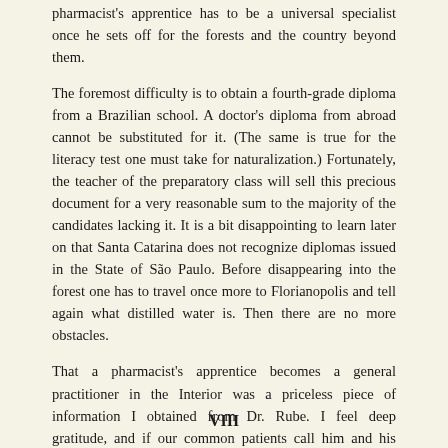pharmacist's apprentice has to be a universal specialist once he sets off for the forests and the country beyond them.
The foremost difficulty is to obtain a fourth-grade diploma from a Brazilian school. A doctor's diploma from abroad cannot be substituted for it. (The same is true for the literacy test one must take for naturalization.) Fortunately, the teacher of the preparatory class will sell this precious document for a very reasonable sum to the majority of the candidates lacking it. It is a bit disappointing to learn later on that Santa Catarina does not recognize diplomas issued in the State of São Paulo. Before disappearing into the forest one has to travel once more to Florianopolis and tell again what distilled water is. Then there are no more obstacles.
That a pharmacist's apprentice becomes a general practitioner in the Interior was a priceless piece of information I obtained from Dr. Rube. I feel deep gratitude, and if our common patients call him and his ancestors[2] names, I never fail to mention that he had, under the thick layers of fat, a human heart.
VIII